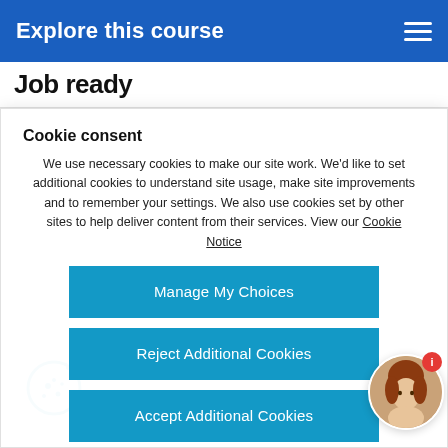Explore this course
Job ready
Cookie consent
We use necessary cookies to make our site work. We'd like to set additional cookies to understand site usage, make site improvements and to remember your settings. We also use cookies set by other sites to help deliver content from their services. View our Cookie Notice
Manage My Choices
Reject Additional Cookies
Accept Additional Cookies
[Figure (illustration): Cookie icon — circle with cookie/biscuit and dots]
[Figure (photo): Circular avatar photo of a woman with red/brown hair, with a red notification badge showing 'i']